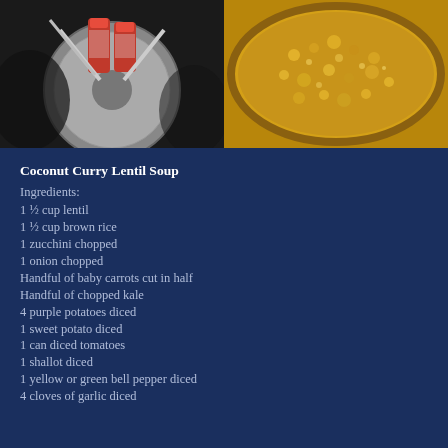[Figure (photo): Close-up photo of what appears to be beer cans being processed by a metal device or can opener, dark background]
[Figure (photo): Close-up photo of lentil soup cooking in a pot, showing orange-yellow liquid with grains and vegetables]
Coconut Curry Lentil Soup
Ingredients:
1 ½ cup lentil
1 ½ cup brown rice
1 zucchini chopped
1 onion chopped
Handful of baby carrots cut in half
Handful of chopped kale
4 purple potatoes diced
1 sweet potato diced
1 can diced tomatoes
1 shallot diced
1 yellow or green bell pepper diced
4 cloves of garlic diced